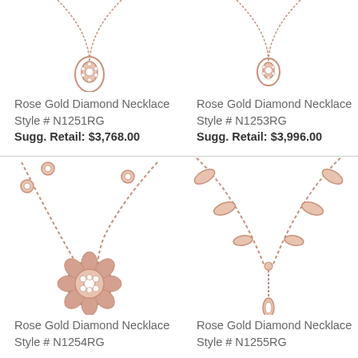[Figure (photo): Rose gold diamond teardrop pendant necklace on white background (top, partially cropped)]
[Figure (photo): Rose gold diamond teardrop pendant necklace on white background (top, partially cropped)]
Rose Gold Diamond Necklace
Style # N1251RG
Sugg. Retail: $3,768.00
Rose Gold Diamond Necklace
Style # N1253RG
Sugg. Retail: $3,996.00
[Figure (photo): Rose gold diamond floral cluster pendant necklace with bezel-set diamond stations on chain]
[Figure (photo): Rose gold diamond Y-style lariat necklace with marquise-shaped stations]
Rose Gold Diamond Necklace
Style # N1254RG
Rose Gold Diamond Necklace
Style # N1255RG